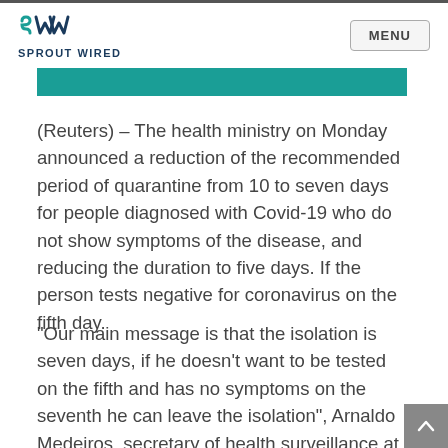SPROUT WIRED | MENU
[Figure (other): Teal decorative banner bar]
(Reuters) – The health ministry on Monday announced a reduction of the recommended period of quarantine from 10 to seven days for people diagnosed with Covid-19 who do not show symptoms of the disease, and reducing the duration to five days. If the person tests negative for coronavirus on the fifth day.
“Our main message is that the isolation is seven days, if he doesn’t want to be tested on the fifth and has no symptoms on the seventh he can leave the isolation”, Arnaldo Medeiros, secretary of health surveillance at